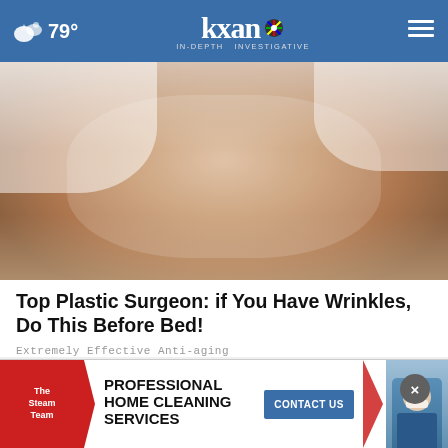79° kxan IN-DEPTH INVESTIGATIVE
[Figure (photo): Close-up of a woman's face with a clear facial mask/treatment applied, wrapped in a white towel, eyes closed, smiling]
Top Plastic Surgeon: if You Have Wrinkles, Do This Before Bed!
Extremely Effective Anti-aging
[Figure (photo): Person in magenta/pink shirt and jeans, partial body view]
[Figure (infographic): Ad banner: The Steam Team - Professional Home Cleaning Services - Contact Us button - with a photo of a masked professional]